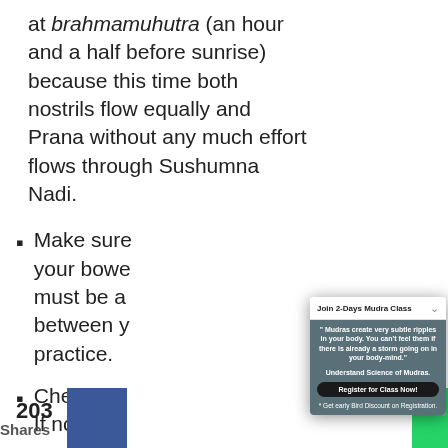at brahmamuhutra (an hour and a half before sunrise) because this time both nostrils flow equally and Prana without any much effort flows through Sushumna Nadi.
Make sure before practice your bowels must be and between y practice.
Check yo If not, go or ground
[Figure (infographic): Popup advertisement for 'Join 2-Days Mudra Class' with quote 'Mudras create very subtle ripples in your body. You can't feel them if there is already a storm going on in your body-mind.' and 'Understand Science of Mudras.' with Register for Class Now button and '* Get early Bird Discount on Registration.' note.]
203
Shares